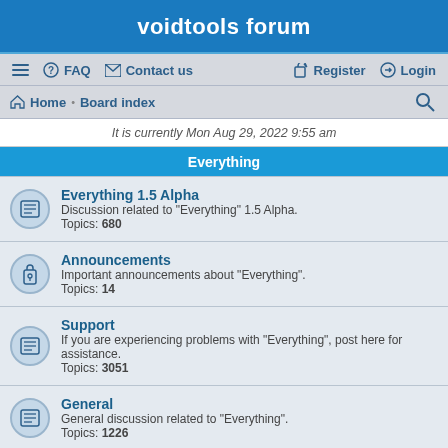voidtools forum
≡  FAQ  Contact us    Register  Login
Home · Board index
It is currently Mon Aug 29, 2022 9:55 am
Everything
Everything 1.5 Alpha — Discussion related to "Everything" 1.5 Alpha. Topics: 680
Announcements — Important announcements about "Everything". Topics: 14
Support — If you are experiencing problems with "Everything", post here for assistance. Topics: 3051
General — General discussion related to "Everything". Topics: 1226
Suggestions — Have a suggestion for "Everything"? Please post it here. Topics: 1390
Bug report